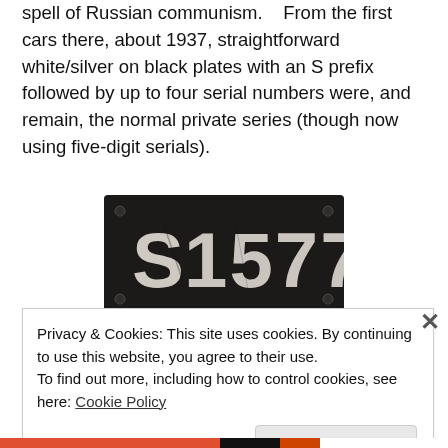spell of Russian communism.    From the first cars there, about 1937, straightforward white/silver on black plates with an S prefix followed by up to four serial numbers were, and remain, the normal private series (though now using five-digit serials).
[Figure (photo): Black license plate with white text reading 'S 1577']
Most plates were properly made, but
Privacy & Cookies: This site uses cookies. By continuing to use this website, you agree to their use.
To find out more, including how to control cookies, see here: Cookie Policy